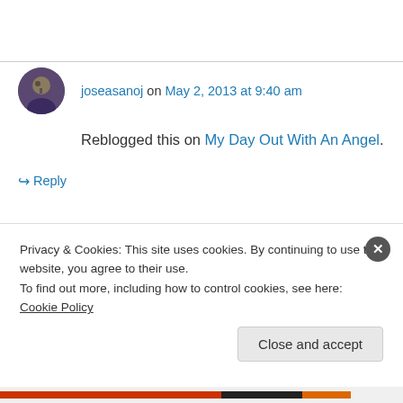joseasanoj on May 2, 2013 at 9:40 am
Reblogged this on My Day Out With An Angel.
↪ Reply
amritaspeaks on May 2, 2013 at 4:48 pm
Hi
Privacy & Cookies: This site uses cookies. By continuing to use this website, you agree to their use.
To find out more, including how to control cookies, see here: Cookie Policy
Close and accept